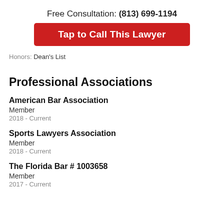Free Consultation: (813) 699-1194
Tap to Call This Lawyer
Honors: Dean's List
Professional Associations
American Bar Association
Member
2018 - Current
Sports Lawyers Association
Member
2018 - Current
The Florida Bar  # 1003658
Member
2017 - Current